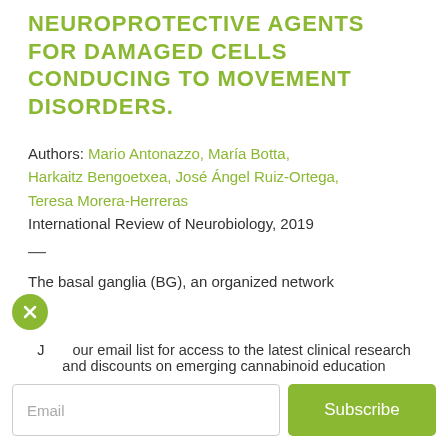NEUROPROTECTIVE AGENTS FOR DAMAGED CELLS CONDUCING TO MOVEMENT DISORDERS.
Authors: Mario Antonazzo, María Botta, Harkaitz Bengoetxea, José Ángel Ruiz-Ortega, Teresa Morera-Herreras
International Review of Neurobiology, 2019
The basal ganglia (BG), an organized network
Join our email list for access to the latest clinical research and discounts on emerging cannabinoid education